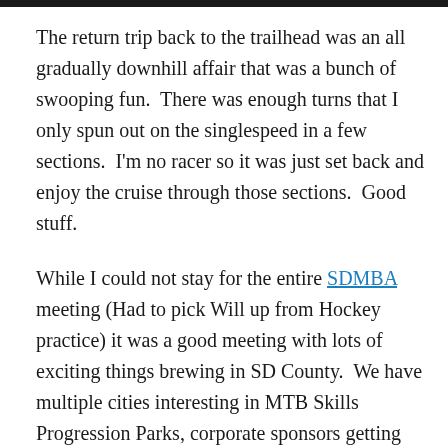The return trip back to the trailhead was an all gradually downhill affair that was a bunch of swooping fun.  There was enough turns that I only spun out on the singlespeed in a few sections.  I'm no racer so it was just set back and enjoy the cruise through those sections.  Good stuff.
While I could not stay for the entire SDMBA meeting (Had to pick Will up from Hockey practice) it was a good meeting with lots of exciting things brewing in SD County.  We have multiple cities interesting in MTB Skills Progression Parks, corporate sponsors getting more involved, and the IMBA trail crew coming